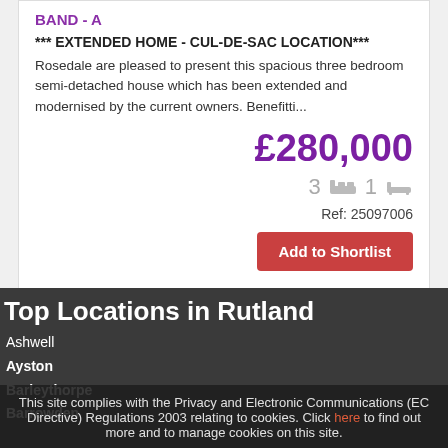BAND - A
*** EXTENDED HOME - CUL-DE-SAC LOCATION***
Rosedale are pleased to present this spacious three bedroom semi-detached house which has been extended and modernised by the current owners. Benefitti...
£280,000
3  1
Ref: 25097006
Add to Shortlist
Top Locations in Rutland
Ashwell
Ayston
Barleythorpe
Barrowden
This site complies with the Privacy and Electronic Communications (EC Directive) Regulations 2003 relating to cookies. Click here to find out more and to manage cookies on this site.